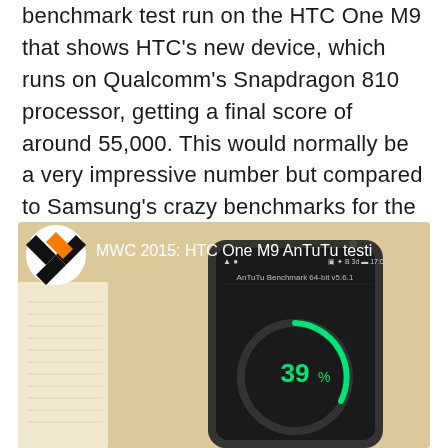benchmark test run on the HTC One M9 that shows HTC's new device, which runs on Qualcomm's Snapdragon 810 processor, getting a final score of around 55,000. This would normally be a very impressive number but compared to Samsung's crazy benchmarks for the S6 and S6 edge, it looks positively tiny.
[Figure (screenshot): Video thumbnail showing AnTuTu Benchmark 64-bit v5.6.1 running on HTC One M9, displaying 39% progress in a circular gauge. The video is titled 'MWC 2015: HTC One M9 AnTuTu testi' with an AnTuTu logo in the upper left corner.]